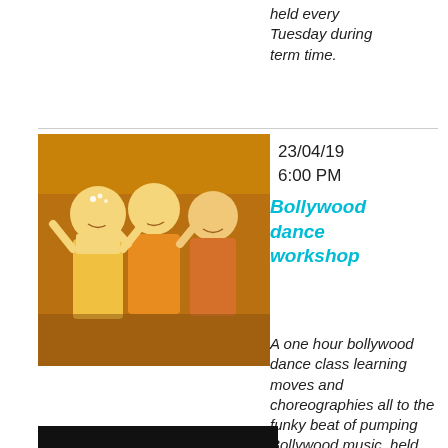held every Tuesday during term time.
[Figure (photo): Women in colorful traditional Indian/Bollywood dance costumes, smiling and dancing]
23/04/19
6:00 PM
Bollywood dance workshop
A one hour bollywood dance class learning moves and choreographies all to the funky beat of pumping Bollywood music, held weekly on Tuesday evenings.